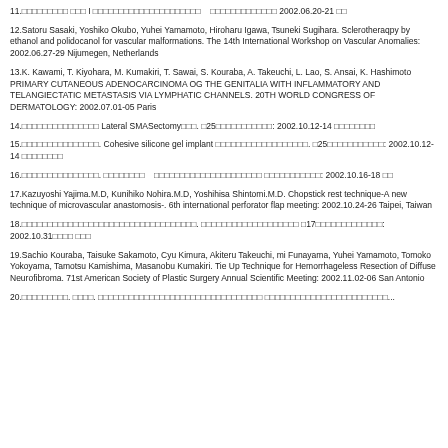11.□□□□□□□□□ □□□ I □□□□□□□□□□□□□□□□□□□□□    □□□□□□□□□□□□□ 2002.06.20-21 □□
12.Satoru Sasaki, Yoshiko Okubo, Yuhei Yamamoto, Hiroharu Igawa, Tsuneki Sugihara. Sclerotheraqpy by ethanol and polidocanol for vascular malformations. The 14th International Workshop on Vascular Anomalies: 2002.06.27-29 Nijumegen, Netherlands
13.K. Kawami, T. Kiyohara, M. Kumakiri, T. Sawai, S. Kouraba, A. Takeuchi, L. Lao, S. Ansai, K. Hashimoto PRIMARY CUTANEOUS ADENOCARCINOMA OG THE GENITALIA WITH INFLAMMATORY AND TELANGIECTATIC METASTASIS VIA LYMPHATIC CHANNELS. 20TH WORLD CONGRESS OF DERMATOLOGY: 2002.07.01-05 Paris
14.□□□□□□□□□□□□□□□ Lateral SMASectomy□□□. □25□□□□□□□□□□□: 2002.10.12-14 □□□□□□□□
15.□□□□□□□□□□□□□□□. Cohesive silicone gel implant □□□□□□□□□□□□□□□□□□. □25□□□□□□□□□□□: 2002.10.12-14 □□□□□□□□
16.□□□□□□□□□□□□□□□. □□□□□□□□    □□□□□□□□□□□□□□□□□□□□□ □□□□□□□□□□□: 2002.10.16-18 □□
17.Kazuyoshi Yajima.M.D, Kunihiko Nohira.M.D, Yoshihisa Shintomi.M.D. Chopstick rest technique-A new technique of microvascular anastomosis-. 6th international perforator flap meeting: 2002.10.24-26 Taipei, Taiwan
18.□□□□□□□□□□□□□□□□□□□□□□□□□□□□□□□□□□. □□□□□□□□□□□□□□□□□□□ □17□□□□□□□□□□□□□: 2002.10.31□□□□ □□□
19.Sachio Kouraba, Taisuke Sakamoto, Cyu Kimura, Akiteru Takeuchi, mi Funayama, Yuhei Yamamoto, Tomoko Yokoyama, Tamotsu Kamishima, Masanobu Kumakiri. Tie Up Technique for Hemorrhageless Resection of Diffuse Neurofibroma. 71st American Society of Plastic Surgery Annual Scientific Meeting: 2002.11.02-06 San Antonio
20.□□□□□□□□□. □□□□. □□□□□□□□□□□□□□□□□□□□□□□□□□□□□□□□ □□□□□□□□□□□□□□□□□□□...